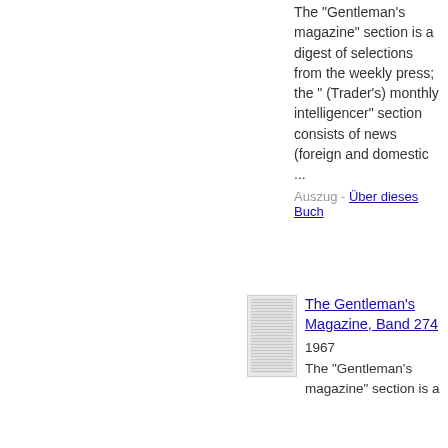The "Gentleman's magazine" section is a digest of selections from the weekly press; the " (Trader's) monthly intelligencer" section consists of news (foreign and domestic ...
Auszug - Über dieses Buch
[Figure (photo): Thumbnail image of a book page with dense text columns]
The Gentleman's Magazine, Band 274
1967
The "Gentleman's magazine" section is a